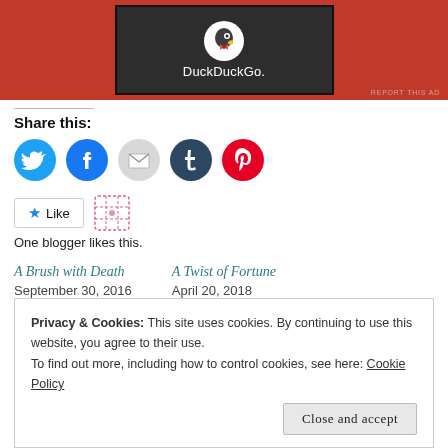[Figure (screenshot): DuckDuckGo advertisement banner with orange background and dark center panel showing the DuckDuckGo logo and text]
REPORT THIS AD
Share this:
[Figure (infographic): Social share buttons: Twitter (blue), Facebook (blue), Email (gray), Tumblr (dark blue), Pinterest (red)]
[Figure (infographic): Like button with star icon and pink grid/Gravatar icon]
One blogger likes this.
A Brush with Death
September 30, 2016
A Twist of Fortune
April 20, 2018
Privacy & Cookies: This site uses cookies. By continuing to use this website, you agree to their use.
To find out more, including how to control cookies, see here: Cookie Policy
Close and accept